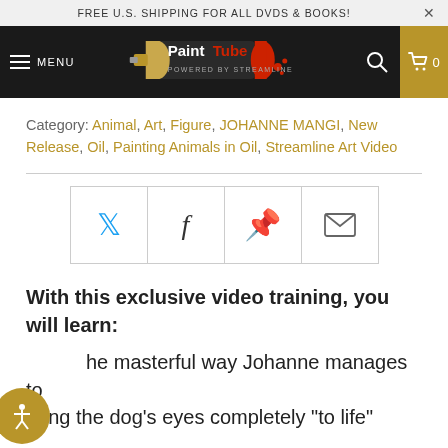FREE U.S. SHIPPING FOR ALL DVDS & BOOKS!
[Figure (logo): PaintTube logo - paint tube graphic with 'PaintTube' text on dark background, 'POWERED BY STREAMLINE' subtitle]
Category: Animal, Art, Figure, JOHANNE MANGI, New Release, Oil, Painting Animals in Oil, Streamline Art Video
[Figure (infographic): Social sharing buttons: Twitter (bird icon), Facebook (f icon), Pinterest (p icon), Email (envelope icon)]
With this exclusive video training, you will learn:
the masterful way Johanne manages to bring the dog's eyes completely "to life"